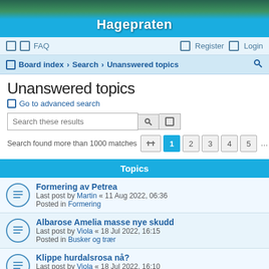Hagepraten
FAQ  Register  Login
Board index › Search › Unanswered topics
Unanswered topics
Go to advanced search
Search these results
Search found more than 1000 matches  1  2  3  4  5  ...  20
Topics
Formering av Petrea
Last post by Martin « 11 Aug 2022, 06:36
Posted in Formering
Albarose Amelia masse nye skudd
Last post by Viola « 18 Jul 2022, 16:15
Posted in Busker og trær
Klippe hurdalsrosa nå?
Last post by Viola « 18 Jul 2022, 16:10
Posted in Busker og trær
Oljete spor etter blomsterkrukker i glassfiberarmert sement